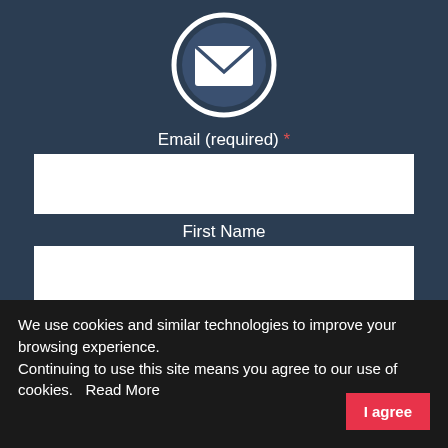[Figure (illustration): White envelope icon inside a white circle ring on dark blue background]
Email (required) *
[Figure (screenshot): White input text field for email]
First Name
[Figure (screenshot): White input text field for first name]
Last Name
[Figure (screenshot): White input text field for last name (partially visible)]
We use cookies and similar technologies to improve your browsing experience.
Continuing to use this site means you agree to our use of cookies.   Read More
I agree